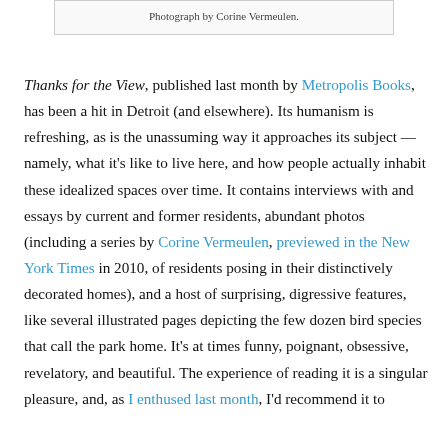Photograph by Corine Vermeulen.
Thanks for the View, published last month by Metropolis Books, has been a hit in Detroit (and elsewhere). Its humanism is refreshing, as is the unassuming way it approaches its subject — namely, what it's like to live here, and how people actually inhabit these idealized spaces over time. It contains interviews with and essays by current and former residents, abundant photos (including a series by Corine Vermeulen, previewed in the New York Times in 2010, of residents posing in their distinctively decorated homes), and a host of surprising, digressive features, like several illustrated pages depicting the few dozen bird species that call the park home. It's at times funny, poignant, obsessive, revelatory, and beautiful. The experience of reading it is a singular pleasure, and, as I enthused last month, I'd recommend it to